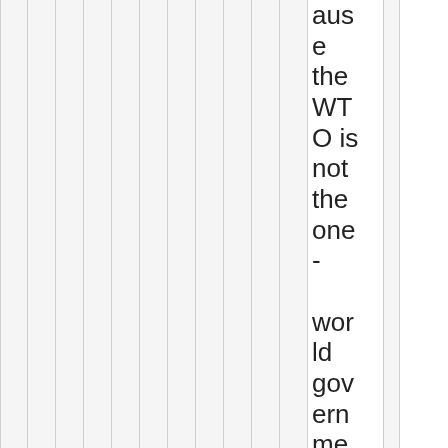ause the WTO is not the one-world government. There is a technical term for the inhere